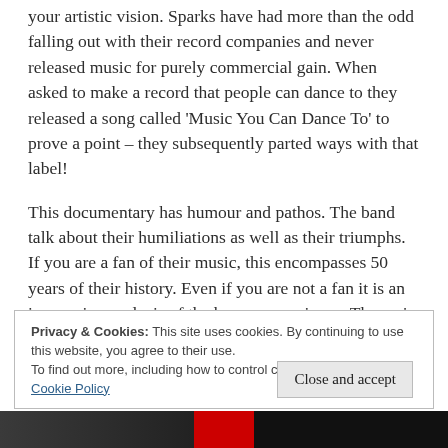your artistic vision. Sparks have had more than the odd falling out with their record companies and never released music for purely commercial gain. When asked to make a record that people can dance to they released a song called 'Music You Can Dance To' to prove a point – they subsequently parted ways with that label!
This documentary has humour and pathos. The band talk about their humiliations as well as their triumphs. If you are a fan of their music, this encompasses 50 years of their history. Even if you are not a fan it is an impressive analysis of the human experience. The main positive about this film is that it will introduce this wonderful band to a new generation of fans!
Privacy & Cookies: This site uses cookies. By continuing to use this website, you agree to their use.
To find out more, including how to control cookies, see here: Cookie Policy
[Figure (photo): Photo strip at bottom of page showing black and white photos with a red section in the middle]